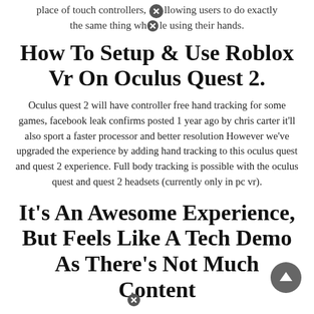place of touch controllers, allowing users to do exactly the same thing while using their hands.
How To Setup & Use Roblox Vr On Oculus Quest 2.
Oculus quest 2 will have controller free hand tracking for some games, facebook leak confirms posted 1 year ago by chris carter it'll also sport a faster processor and better resolution However we've upgraded the experience by adding hand tracking to this oculus quest and quest 2 experience. Full body tracking is possible with the oculus quest and quest 2 headsets (currently only in pc vr).
It's An Awesome Experience, But Feels Like A Tech Demo As There's Not Much Content.